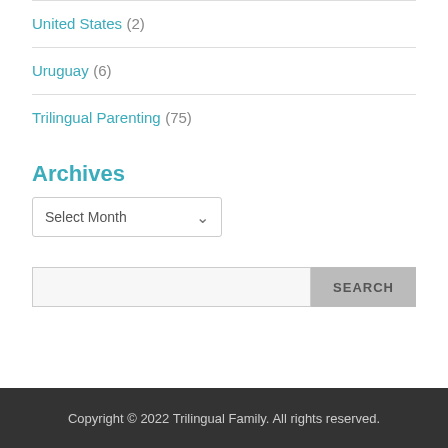United States (2)
Uruguay (6)
Trilingual Parenting (75)
Archives
Select Month
SEARCH
Copyright © 2022 Trilingual Family. All rights reserved.